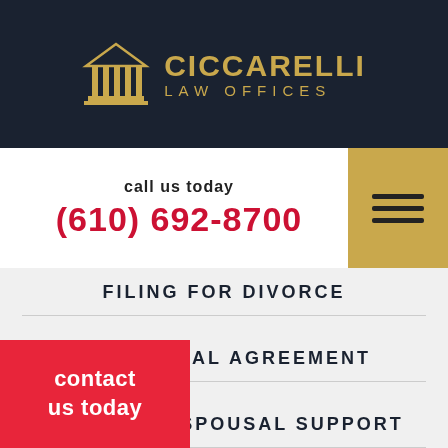[Figure (logo): Ciccarelli Law Offices logo with a classical temple/courthouse icon in gold on dark navy background, with text CICCARELLI LAW OFFICES in gold]
call us today
(610) 692-8700
FILING FOR DIVORCE
PRENUPTIAL AGREEMENT
contact us today
AND SPOUSAL SUPPORT
PATERNITY